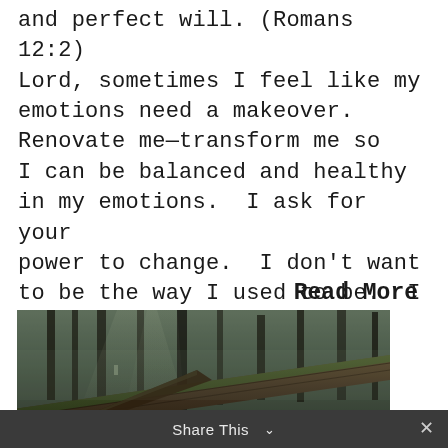and perfect will. (Romans 12:2) Lord, sometimes I feel like my emotions need a makeover. Renovate me—transform me so I can be balanced and healthy in my emotions.  I ask for your power to change.  I don't want to be the way I used to be.  I want to...
Read More
[Figure (photo): Dark misty forest scene with large fallen moss-covered logs and tall trees with light filtering through]
Share This ∨  ×